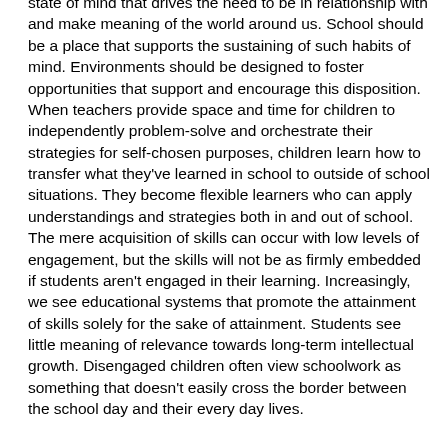state of mind that drives the need to be in relationship with and make meaning of the world around us. School should be a place that supports the sustaining of such habits of mind. Environments should be designed to foster opportunities that support and encourage this disposition. When teachers provide space and time for children to independently problem-solve and orchestrate their strategies for self-chosen purposes, children learn how to transfer what they've learned in school to outside of school situations. They become flexible learners who can apply understandings and strategies both in and out of school. The mere acquisition of skills can occur with low levels of engagement, but the skills will not be as firmly embedded if students aren't engaged in their learning. Increasingly, we see educational systems that promote the attainment of skills solely for the sake of attainment. Students see little meaning of relevance towards long-term intellectual growth. Disengaged children often view schoolwork as something that doesn't easily cross the border between the school day and their every day lives.